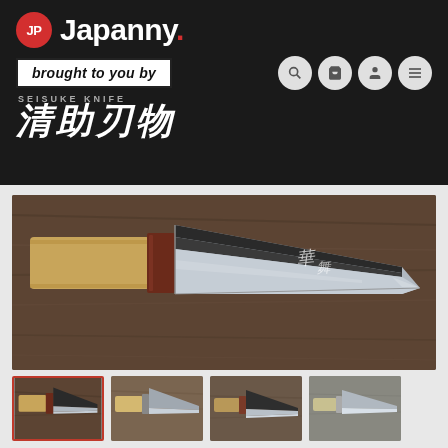[Figure (logo): Japanny logo with JP red circle and Japanny wordmark in white on dark background]
brought to you by
[Figure (logo): Seisuke Knife logo with Japanese kanji characters and SEISUKE KNIFE text]
[Figure (photo): Main product photo: Japanese chef knife (gyuto) with dark hammered blade bearing floral etching, wood and reddish-brown collar handle, on wooden surface]
[Figure (photo): Thumbnail 1 (selected, red border): same knife angled on wood surface]
[Figure (photo): Thumbnail 2: lighter colored knife blade on wood surface]
[Figure (photo): Thumbnail 3: knife blade close up on wood surface]
[Figure (photo): Thumbnail 4: light colored knife blade close up]